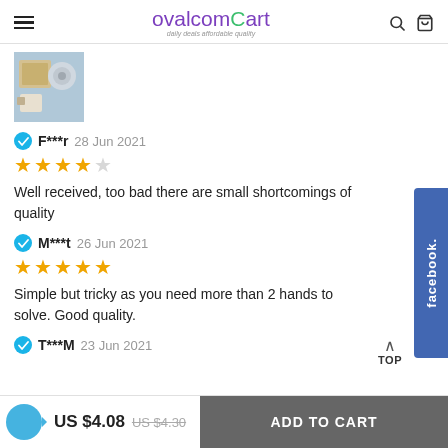ovalcomCart - daily deals affordable quality
[Figure (photo): Product thumbnail photo showing plumbing fittings/connectors on blue background]
F***r  28 Jun 2021 — 4 stars — Well received, too bad there are small shortcomings of quality
M***t  26 Jun 2021 — 5 stars — Simple but tricky as you need more than 2 hands to solve. Good quality.
T***M  23 Jun 2021
US $4.08  US $4.30  ADD TO CART